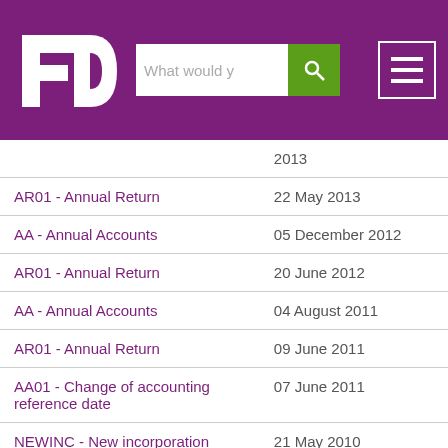[Figure (logo): FD logo in white on purple background with search bar and hamburger menu]
| Filing type | Date |
| --- | --- |
|  | 2013 |
| AR01 - Annual Return | 22 May 2013 |
| AA - Annual Accounts | 05 December 2012 |
| AR01 - Annual Return | 20 June 2012 |
| AA - Annual Accounts | 04 August 2011 |
| AR01 - Annual Return | 09 June 2011 |
| AA01 - Change of accounting reference date | 07 June 2011 |
| NEWINC - New incorporation | 21 May 2010 |